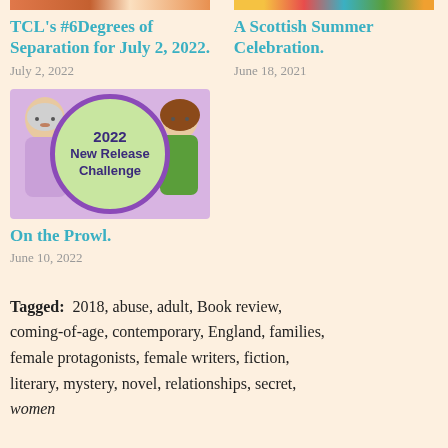[Figure (photo): Top image strip for TCL's #6Degrees of Separation article]
TCL's #6Degrees of Separation for July 2, 2022.
July 2, 2022
[Figure (photo): Top image strip for A Scottish Summer Celebration article]
A Scottish Summer Celebration.
June 18, 2021
[Figure (illustration): 2022 New Release Challenge badge with illustrated women on purple background]
On the Prowl.
June 10, 2022
Tagged: 2018, abuse, adult, Book review, coming-of-age, contemporary, England, families, female protagonists, female writers, fiction, literary, mystery, novel, relationships, secret, women